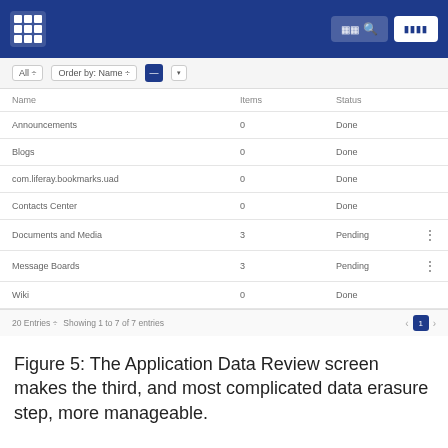[Figure (screenshot): Application UI screenshot showing a data table with Name, Items, and Status columns. Rows include Announcements (0, Done), Blogs (0, Done), com.liferay.bookmarks.uad (0, Done), Contacts Center (0, Done), Documents and Media (3, Pending), Message Boards (3, Pending), Wiki (0, Done). Pagination shows 20 Entries, Showing 1 to 7 of 7 entries.]
Figure 5: The Application Data Review screen makes the third, and most complicated data erasure step, more manageable.